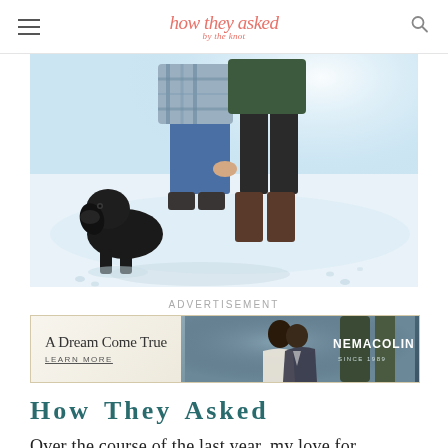how they asked by the knot
[Figure (photo): Couple standing in snow with a black dog; only their lower bodies visible. Man in plaid shirt and jeans, woman in dark jacket and tall boots. Snow-covered ground with trees in background.]
ADVERTISEMENT
[Figure (other): Advertisement banner for Nemacolin resort: 'A Dream Come True — LEARN MORE' on left with couple kissing photo and Nemacolin logo on right.]
How They Asked
Over the course of the last year, my love for